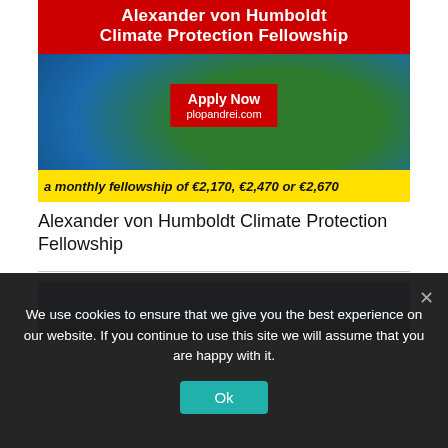[Figure (infographic): Alexander von Humboldt Climate Protection Fellowship banner with Earth globe background. Red header with white bold text, red 'Apply Now' box with URL plopandrei.com, yellow bottom bar with italic bold text about fellowship amounts.]
Alexander von Humboldt Climate Protection Fellowship
[Figure (infographic): Partial view of a second banner with dark blue/purple gradient background, partially obscured by cookie consent overlay.]
We use cookies to ensure that we give you the best experience on our website. If you continue to use this site we will assume that you are happy with it.